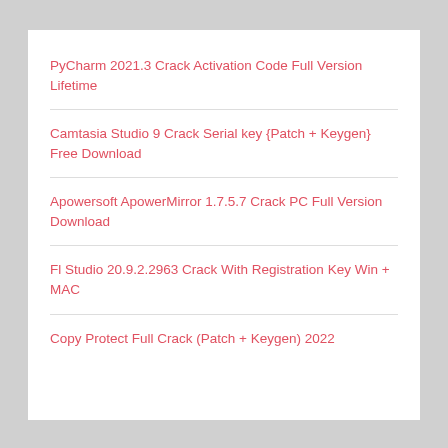PyCharm 2021.3 Crack Activation Code Full Version Lifetime
Camtasia Studio 9 Crack Serial key {Patch + Keygen} Free Download
Apowersoft ApowerMirror 1.7.5.7 Crack PC Full Version Download
Fl Studio 20.9.2.2963 Crack With Registration Key Win + MAC
Copy Protect Full Crack (Patch + Keygen) 2022